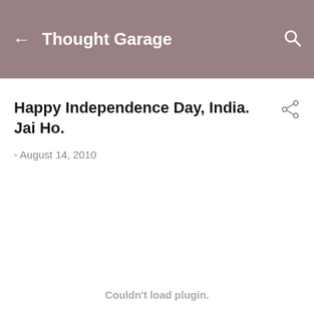Thought Garage
Happy Independence Day, India.  Jai Ho.
- August 14, 2010
Couldn't load plugin.